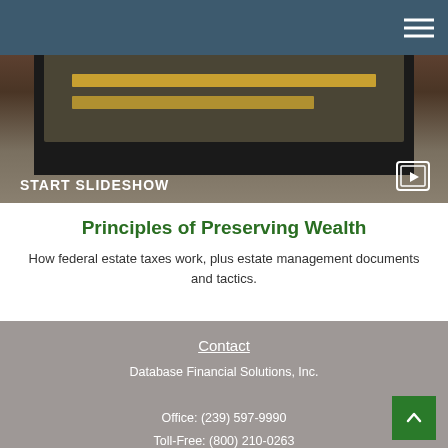[Figure (screenshot): Slideshow thumbnail showing a tablet/screen with golden bars and a START SLIDESHOW label in the bottom left with a slideshow icon on the right]
Principles of Preserving Wealth
How federal estate taxes work, plus estate management documents and tactics.
Contact
Database Financial Solutions, Inc.
Office: (239) 597-9990
Toll-Free: (800) 210-0263
Fax: (239) 597-3763